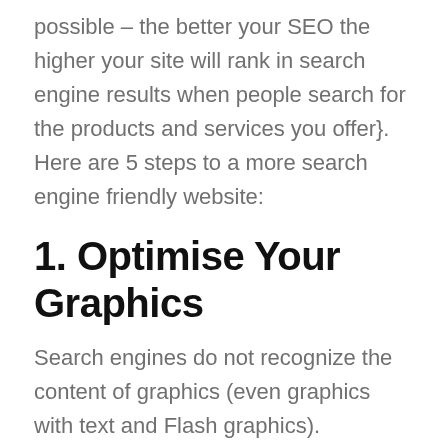possible – the better your SEO the higher your site will rank in search engine results when people search for the products and services you offer}. Here are 5 steps to a more search engine friendly website:
1. Optimise Your Graphics
Search engines do not recognize the content of graphics (even graphics with text and Flash graphics). Therefore, if your pages are image-heavy, the search engines are missing out on a lot of what makes your site relevant to site